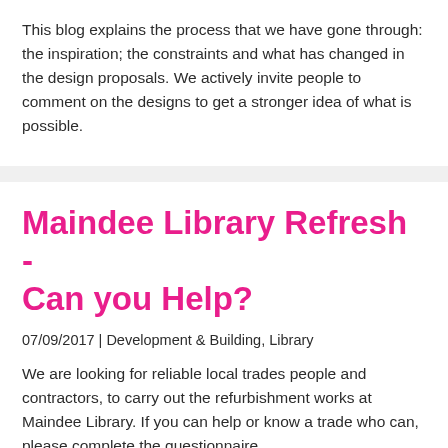This blog explains the process that we have gone through: the inspiration; the constraints and what has changed in the design proposals. We actively invite people to comment on the designs to get a stronger idea of what is possible.
Maindee Library Refresh - Can you Help?
07/09/2017 | Development & Building, Library
We are looking for reliable local trades people and contractors, to carry out the refurbishment works at Maindee Library.  If you can help or know a trade who can, please complete the questionnaire.
[Figure (photo): Group of construction workers wearing hard hats (yellow and blue helmets), partially visible at the bottom of the page, showing heads and shoulders.]